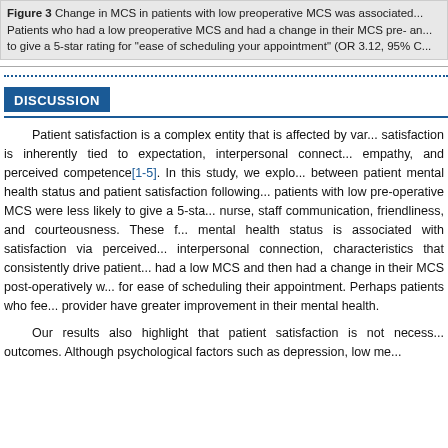Figure 3 Change in MCS in patients with low preoperative MCS was associated... Patients who had a low preoperative MCS and had a change in their MCS pre- and... to give a 5-star rating for "ease of scheduling your appointment" (OR 3.12, 95% C...
DISCUSSION
Patient satisfaction is a complex entity that is affected by var... satisfaction is inherently tied to expectation, interpersonal connect... empathy, and perceived competence[1-5]. In this study, we explo... between patient mental health status and patient satisfaction following... patients with low pre-operative MCS were less likely to give a 5-sta... nurse, staff communication, friendliness, and courteousness. These f... mental health status is associated with satisfaction via perceived... interpersonal connection, characteristics that consistently drive patient... had a low MCS and then had a change in their MCS post-operatively w... for ease of scheduling their appointment. Perhaps patients who fee... provider have greater improvement in their mental health.
Our results also highlight that patient satisfaction is not necess... outcomes. Although psychological factors such as depression, low me...